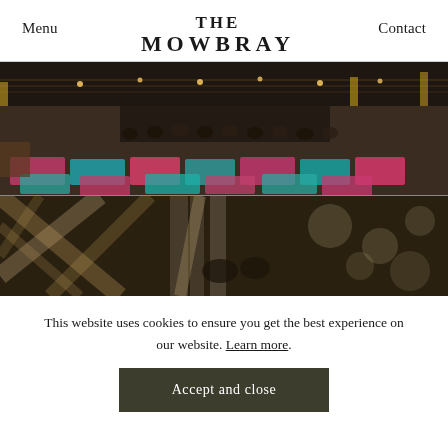Menu   THE MOWBRAY   Contact
[Figure (photo): Interior of The Mowbray venue showing a large hall with colourful yoga mats on the floor, people seated in chairs, string lights and pendant lights hanging from the ceiling, a bar in the background.]
[Figure (photo): Blurred close-up interior architectural detail of The Mowbray venue showing metal industrial beams, chairs, and structural elements with bokeh lighting.]
This website uses cookies to ensure you get the best experience on our website. Learn more.
Accept and close